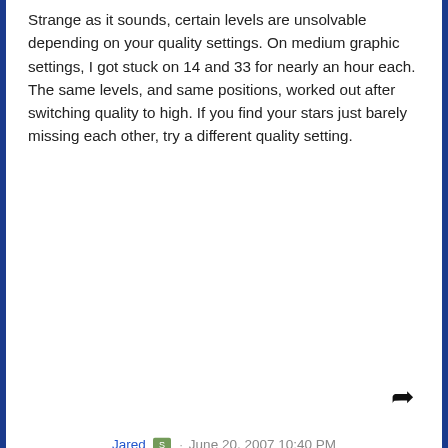Strange as it sounds, certain levels are unsolvable depending on your quality settings. On medium graphic settings, I got stuck on 14 and 33 for nearly an hour each. The same levels, and same positions, worked out after switching quality to high. If you find your stars just barely missing each other, try a different quality setting.
Jared · June 20, 2007 10:40 PM
Ha, yehman, I had never considered that the quality settings might change how the stars might shoot, but indeed you may be right. I'm pretty sure we only bothered testing the game on the high quality setting here, but likely aliasing and whatnot may factor into how the star positions are rounded each move. It'd be very hard, but with so many stars and 50 levels